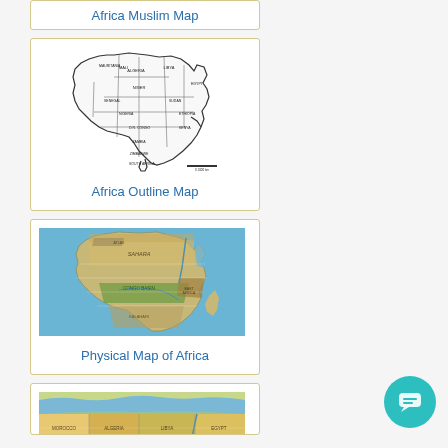Africa Muslim Map
[Figure (map): Black and white outline map of Africa showing country borders and labels]
Africa Outline Map
[Figure (map): Physical/topographic map of Africa showing terrain, elevation, and geographic features in color]
Physical Map of Africa
[Figure (map): Partial view of a colorful political map of North Africa and Mediterranean region]